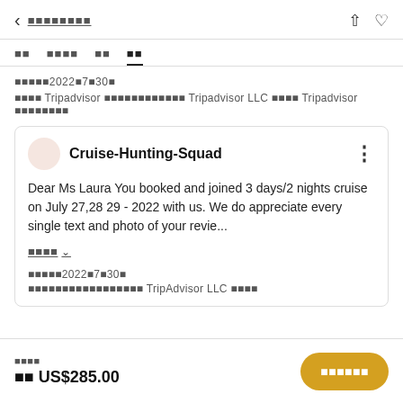< ■■■■■■■■
■■ ■■■■ ■■ ■■
■■■■■2022■7■30■
■■■■ Tripadvisor ■■■■■■■■■■■■ Tripadvisor LLC ■■■■ Tripadvisor ■■■■■■■■
Cruise-Hunting-Squad
Dear Ms Laura You booked and joined 3 days/2 nights cruise on July 27,28 29 - 2022 with us. We do appreciate every single text and photo of your revie...
■■■■ ∨
■■■■■2022■7■30■
■■■■■■■■■■■■■■■■■ TripAdvisor LLC ■■■■
■■■■
■■ US$285.00
■■■■■■